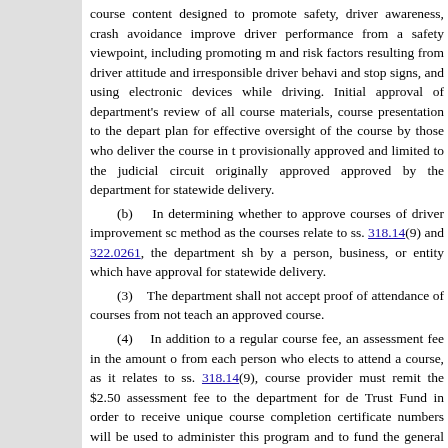course content designed to promote safety, driver awareness, crash avoidance, improve driver performance from a safety viewpoint, including promoting m... and risk factors resulting from driver attitude and irresponsible driver behavi... and stop signs, and using electronic devices while driving. Initial approval of department's review of all course materials, course presentation to the depart... plan for effective oversight of the course by those who deliver the course in t... provisionally approved and limited to the judicial circuit originally approved... approved by the department for statewide delivery.
(b) In determining whether to approve courses of driver improvement sc... method as the courses relate to ss. 318.14(9) and 322.0261, the department sh... by a person, business, or entity which have approval for statewide delivery.
(3) The department shall not accept proof of attendance of courses from not teach an approved course.
(4) In addition to a regular course fee, an assessment fee in the amount o... from each person who elects to attend a course, as it relates to ss. 318.14(9), course provider must remit the $2.50 assessment fee to the department for de... Trust Fund in order to receive unique course completion certificate numbers... will be used to administer this program and to fund the general operations of
(5)(a) The department is authorized to maintain the information and reco... responsibilities for driver improvement courses. Course providers are require... conduct of their approved courses for 5 years and allow the department to ins... may be maintained in an electronic format. If such information is a public rec... made available to the public...